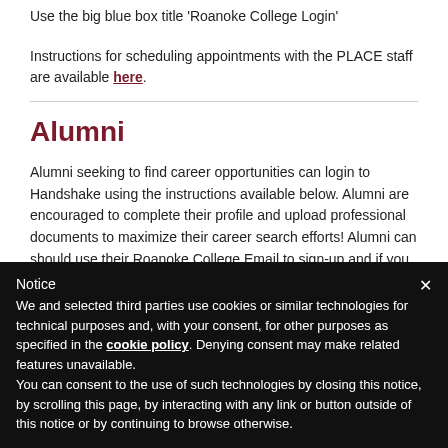Use the big blue box title 'Roanoke College Login'
Instructions for scheduling appointments with the PLACE staff are available here.
Alumni
Alumni seeking to find career opportunities can login to Handshake using the instructions available below. Alumni are encouraged to complete their profile and upload professional documents to maximize their career search efforts! Alumni can should use their Roanoke College Email to sign-up and if you
Notice
We and selected third parties use cookies or similar technologies for technical purposes and, with your consent, for other purposes as specified in the cookie policy. Denying consent may make related features unavailable.
You can consent to the use of such technologies by closing this notice, by scrolling this page, by interacting with any link or button outside of this notice or by continuing to browse otherwise.